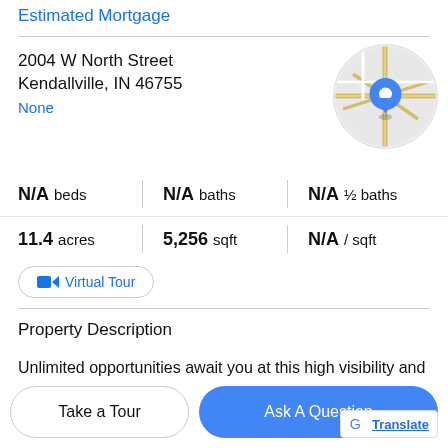Estimated Mortgage
2004 W North Street
Kendallville, IN 46755
None
[Figure (map): Circular Google Maps thumbnail showing a location pin on a street map near Kendallville, IN]
| N/A beds | N/A baths | N/A ½ baths |
| 11.4 acres | 5,256 sqft | N/A / sqft |
Virtual Tour
Property Description
Unlimited opportunities await you at this high visibility and high traffic flow property on State Road 6 on the west side
Take a Tour
Ask A Question
Google Translate